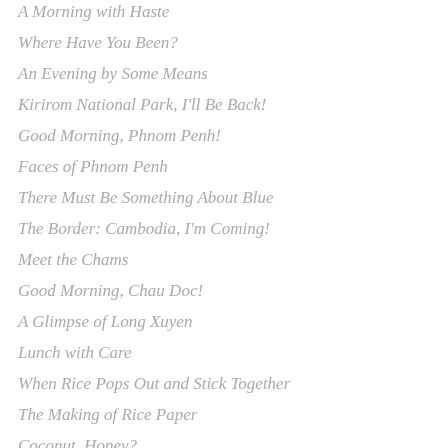A Morning with Haste
Where Have You Been?
An Evening by Some Means
Kirirom National Park, I'll Be Back!
Good Morning, Phnom Penh!
Faces of Phnom Penh
There Must Be Something About Blue
The Border: Cambodia, I'm Coming!
Meet the Chams
Good Morning, Chau Doc!
A Glimpse of Long Xuyen
Lunch with Care
When Rice Pops Out and Stick Together
The Making of Rice Paper
Coconut, Honey?
Along Mekong River
Sai Gon at Night Fall
The Down Part